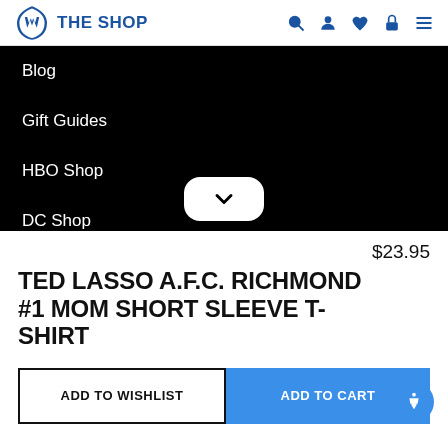WB THE SHOP
Blog
Gift Guides
HBO Shop
DC Shop
$23.95
TED LASSO A.F.C. RICHMOND #1 MOM SHORT SLEEVE T-SHIRT
ADD TO WISHLIST
ADD TO CART